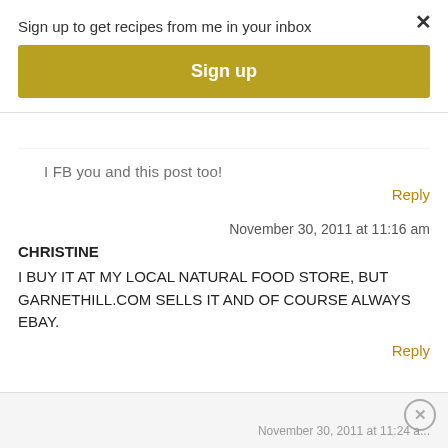Sign up to get recipes from me in your inbox
Sign up
I FB you and this post too!
Reply
November 30, 2011 at 11:16 am
CHRISTINE
I BUY IT AT MY LOCAL NATURAL FOOD STORE, BUT GARNETHILL.COM SELLS IT AND OF COURSE ALWAYS EBAY.
Reply
November 30, 2011 at 11:24 am